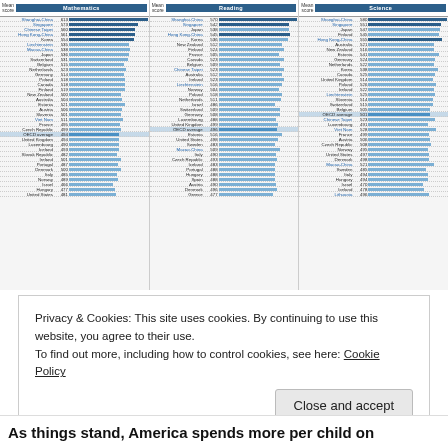[Figure (bar-chart): Three side-by-side horizontal bar charts showing mean PISA 2012 scores for Mathematics, Reading, and Science across countries, ranked from highest to lowest. Countries above OECD average are highlighted in blue text. OECD average row is highlighted.]
Privacy & Cookies: This site uses cookies. By continuing to use this website, you agree to their use.
To find out more, including how to control cookies, see here: Cookie Policy
As things stand, America spends more per child on